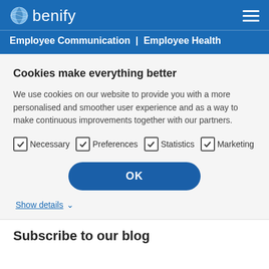benify
Employee Communication | Employee Health
Cookies make everything better
We use cookies on our website to provide you with a more personalised and smoother user experience and as a way to make continuous improvements together with our partners.
Necessary
Preferences
Statistics
Marketing
OK
Show details
Subscribe to our blog